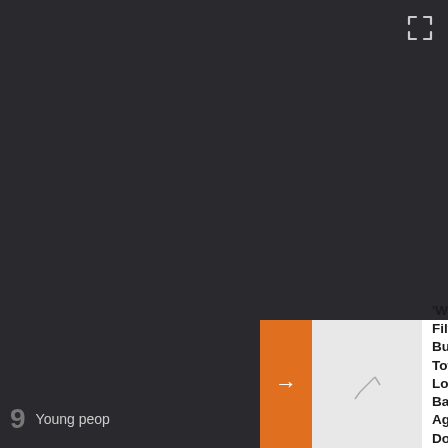[Figure (screenshot): Dark background media player or video area, mostly black/dark gray]
[Figure (other): Fullscreen icon (square bracket corners) in top right corner]
[Figure (other): Orange navigation arrow bar with thumbnail and article card overlay at bottom right]
'We Breathe Filth': A Bulgarian Town's Losing Battle Against A Domineering Coal Plant
9  Young peop